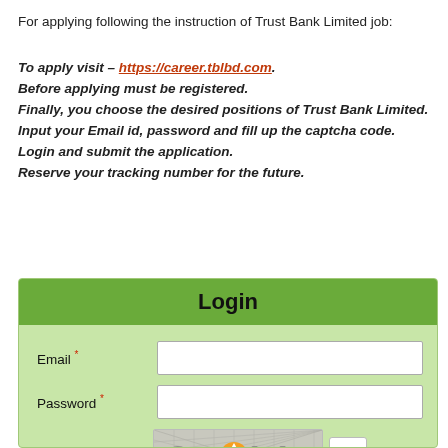For applying following the instruction of Trust Bank Limited job:
To apply visit – https://career.tblbd.com.
Before applying must be registered.
Finally, you choose the desired positions of Trust Bank Limited.
Input your Email id, password and fill up the captcha code.
Login and submit the application.
Reserve your tracking number for the future.
[Figure (screenshot): Login form screenshot showing a green-themed login panel with Email and Password fields, a captcha image showing '211' with an orange up-arrow icon, and a refresh button.]